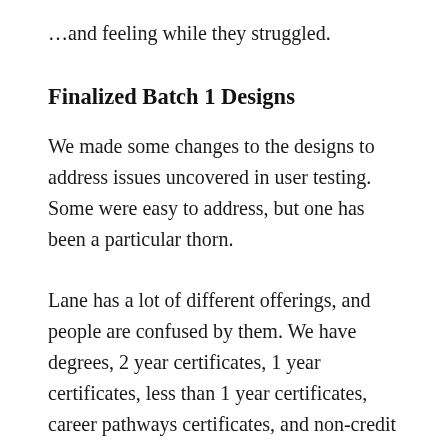…and feeling while they struggled.
Finalized Batch 1 Designs
We made some changes to the designs to address issues uncovered in user testing. Some were easy to address, but one has been a particular thorn.
Lane has a lot of different offerings, and people are confused by them. We have degrees, 2 year certificates, 1 year certificates, less than 1 year certificates, career pathways certificates, and non-credit credentials. There's even more variety within the certificates. Some are financial aid eligible, some are not. Some are